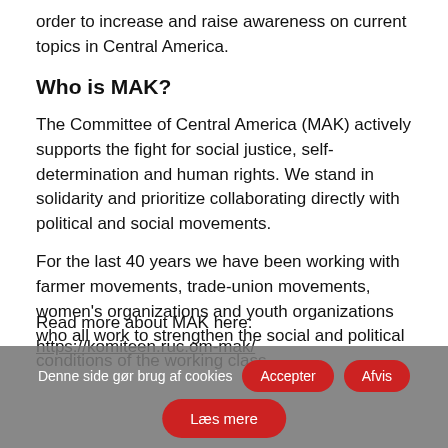order to increase and raise awareness on current topics in Central America.
Who is MAK?
The Committee of Central America (MAK) actively supports the fight for social justice, self-determination and human rights. We stand in solidarity and prioritize collaborating directly with political and social movements.
For the last 40 years we have been working with farmer movements, trade-union movements, women’s organizations and youth organizations who all work to strengthen the social and political conditions of the working class.
Read more about MAK here: https://komiteen.ruc.om-mak/